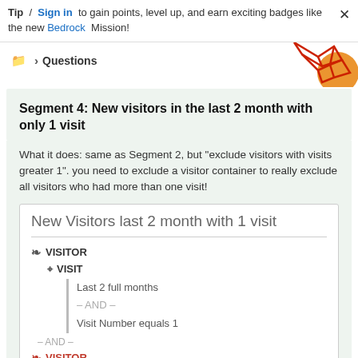Tip / Sign in to gain points, level up, and earn exciting badges like the new Bedrock Mission!
Questions
Segment 4: New visitors in the last 2 month with only 1 visit
What it does: same as Segment 2, but "exclude visitors with visits greater 1". you need to exclude a visitor container to really exclude all visitors who had more than one visit!
[Figure (screenshot): Analytics segment panel titled 'New Visitors last 2 month with 1 visit' showing VISITOR > VISIT container with conditions: Last 2 full months, AND, Visit Number equals 1, AND, VISITOR (red)]